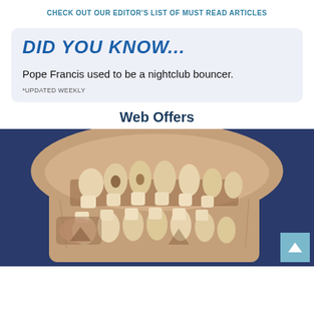CHECK OUT OUR EDITOR'S LIST OF MUST READ ARTICLES
DID YOU KNOW...
Pope Francis used to be a nightclub bouncer.
*UPDATED WEEKLY
Web Offers
[Figure (photo): Cross-section of a child's skull showing adult teeth developing beneath the baby teeth, laid on a blue background. The jaw bone is cut open to reveal multiple tooth buds at various stages of development.]